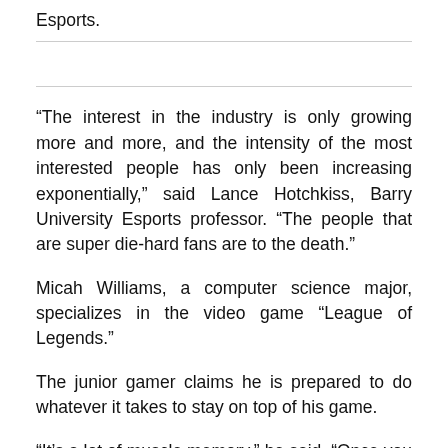Esports.
“The interest in the industry is only growing more and more, and the intensity of the most interested people has only been increasing exponentially,” said Lance Hotchkiss, Barry University Esports professor. “The people that are super die-hard fans are to the death.”
Micah Williams, a computer science major, specializes in the video game “League of Legends.”
The junior gamer claims he is prepared to do whatever it takes to stay on top of his game.
“It’s a lot of muscle memory,” he said. “Once you play something a thousand times, you get to do it without even looking. Like, I’m at the point where I feel like I